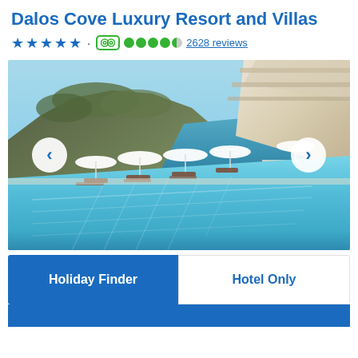Dalos Cove Luxury Resort and Villas
★★★★★ · TripAdvisor 4.5 bubbles · 2628 reviews
[Figure (photo): Infinity pool with white sun umbrellas and loungers overlooking a rocky cove and turquoise sea, with a modern beige building structure on the right and a rocky hillside on the left under a clear blue sky. Navigation arrows (< and >) overlaid on left and right sides.]
Holiday Finder	Hotel Only